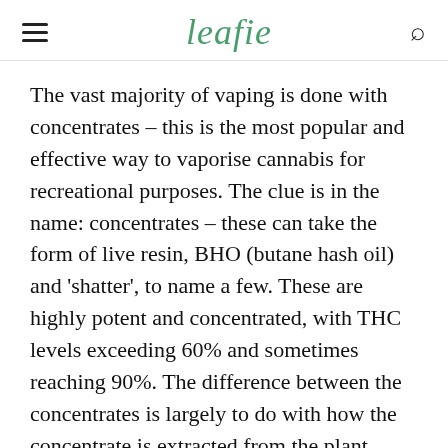leafie
The vast majority of vaping is done with concentrates – this is the most popular and effective way to vaporise cannabis for recreational purposes. The clue is in the name: concentrates – these can take the form of live resin, BHO (butane hash oil) and 'shatter', to name a few. These are highly potent and concentrated, with THC levels exceeding 60% and sometimes reaching 90%. The difference between the concentrates is largely to do with how the concentrate is extracted from the plant. BHO is commonly described as the least pure form of extract, often done at home and using intense heat and pressure. There is speculation backed up by scant scientific evidence (due to its illegality) that vaping BHO can damage the lungs